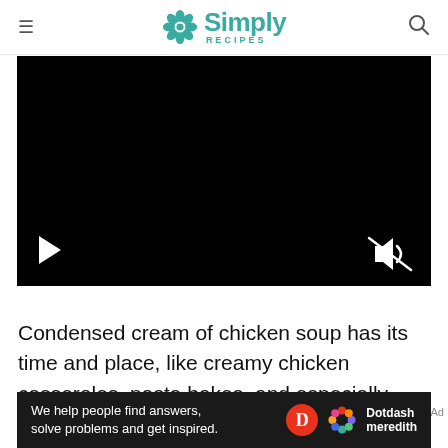Simply Recipes
[Figure (screenshot): Black video player with play button at bottom-left and mute/audio icon at bottom-right]
Condensed cream of chicken soup has its time and place, like creamy chicken casseroles, pasta bakes, and especially these Cheesy Funeral Potatoes. Most recipes call for canned soup, but
[Figure (other): Dotdash Meredith ad banner: 'We help people find answers, solve problems and get inspired.']